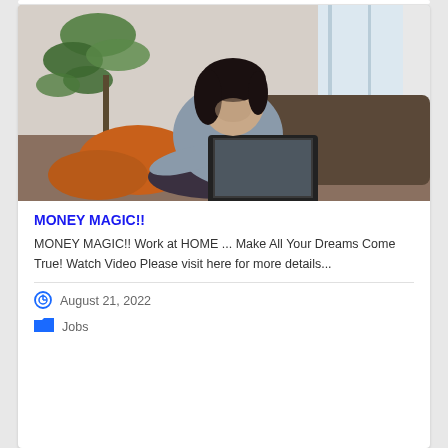[Figure (photo): Woman sitting on a couch with a laptop, plants visible in background, indoor setting]
MONEY MAGIC!!
MONEY MAGIC!! Work at HOME ... Make All Your Dreams Come True! Watch Video Please visit here for more details...
August 21, 2022
Jobs